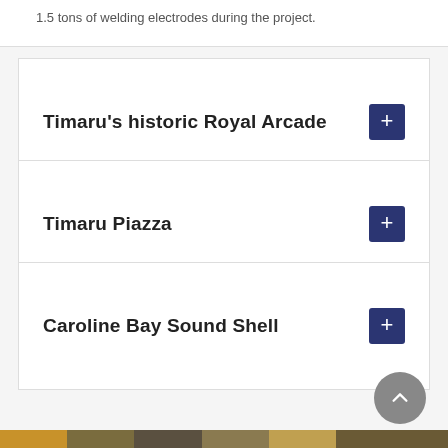1.5 tons of welding electrodes during the project.
Timaru's historic Royal Arcade
Timaru Piazza
Caroline Bay Sound Shell